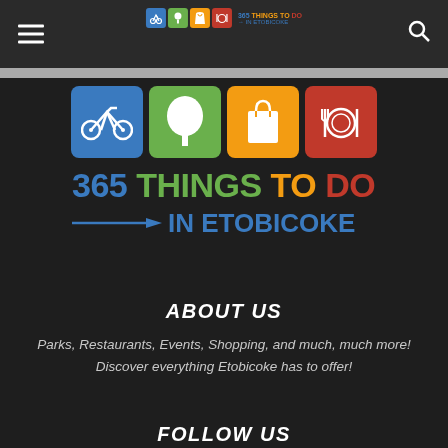365 THINGS TO DO IN ETOBICOKE - Navigation bar with hamburger menu and search icon
[Figure (logo): 365 Things To Do In Etobicoke logo with four colored tiles (blue bicycle, green tree, orange shopping bag, red plate with fork and knife) and bold text below]
ABOUT US
Parks, Restaurants, Events, Shopping, and much, much more! Discover everything Etobicoke has to offer!
FOLLOW US